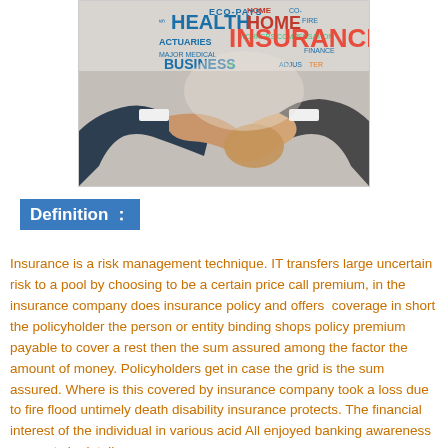[Figure (photo): Photo of two people shaking hands in business attire, overlaid with an insurance word cloud containing terms like HEALTH, HOME, INSURANCE, ACTUARIES, CO-PAYS, WORKERS COMPENSATION, MAJOR MEDICAL, BUSINESS, FIRE, FINANCE, ADJUSTERS in various colors (blue, red, teal).]
Definition ：
Insurance is a risk management technique. IT transfers large uncertain risk to a pool by choosing to be a certain price call premium, in the insurance company does insurance policy and offers  coverage in short the policyholder the person or entity binding shops policy premium payable to cover a rest then the sum assured among the factor the amount of money. Policyholders get in case the grid is the sum assured. Where is this covered by insurance company took a loss due to fire flood untimely death disability insurance protects. The financial interest of the individual in various acid All enjoyed banking awareness concepts in detail